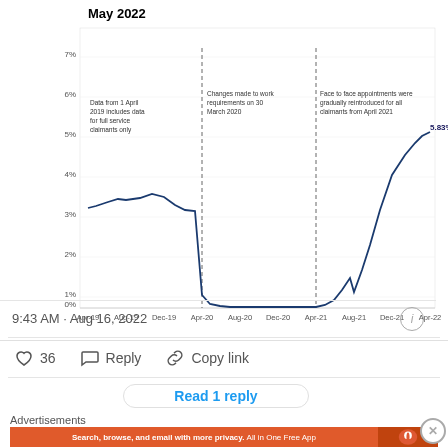May 2022
[Figure (line-chart): May 2022]
9:43 AM · Aug 16, 2022
36
Reply
Copy link
Read 1 reply
Advertisements
[Figure (screenshot): DuckDuckGo advertisement banner: 'Search, browse, and email with more privacy. All in One Free App' with DuckDuckGo logo on orange background.]